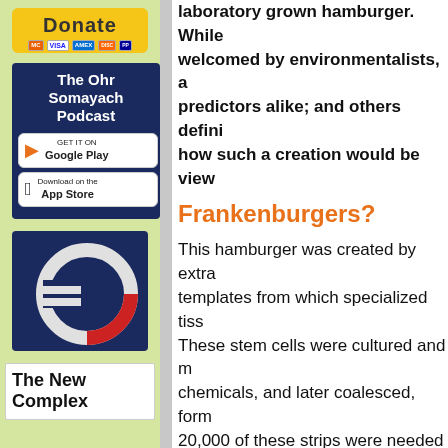[Figure (other): Donate button with PayPal and credit card logos (MasterCard, VISA, AmEx, Discover)]
[Figure (other): The Ohr Somayach Podcast sidebar box with Google Play and App Store download badges]
[Figure (other): Dark blue box with Euro/currency symbol graphic]
[Figure (other): The New Complex advertisement box]
laboratory grown hamburger. While welcomed by environmentalists, a predictors alike; and others defini how such a creation would be view
Frankenburgers?
This hamburger was created by extra templates from which specialized tiss These stem cells were cultured and n chemicals, and later coalesced, form 20,000 of these strips were needed t
It is important to note that currently, w six figures, its production unrealistic i scientific process kept under wraps, t firmly entrenched in the realm of theo affordable and mainstream, its status Rabbanim of the time, based on the a
Several Rabbis addressed the issue considered kosher and even possibly cited, their theorized conclusions we